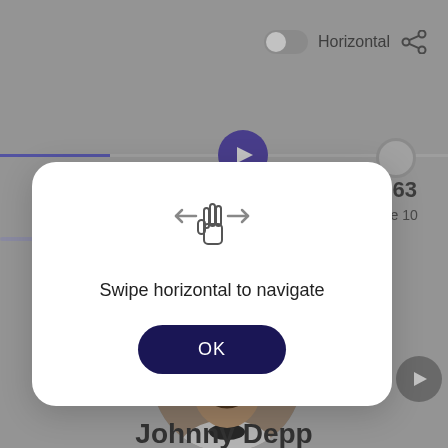[Figure (screenshot): Mobile app screenshot showing a timeline interface with a play button, a timeline dot marker showing 1963 June 10, a circular profile photo of a man wearing sunglasses and bow tie, and the name Johnny Depp at the bottom.]
Horizontal
1963
June 10
[Figure (infographic): Modal dialog with swipe horizontal gesture icon, text 'Swipe horizontal to navigate', and an OK button.]
Swipe horizontal to navigate
OK
Johnny Depp